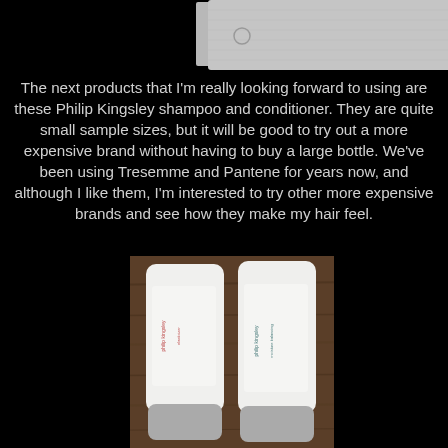[Figure (photo): Partial view of a product packet or packaging, light grey/silver, on black background — top of page]
The next products that I'm really looking forward to using are these Philip Kingsley shampoo and conditioner.  They are quite small sample sizes, but it will be good to try out a more expensive brand without having to buy a large bottle.  We've been using Tresemme and Pantene for years now, and although I like them, I'm interested to try other more expensive brands and see how they make my hair feel.
[Figure (photo): Two white squeeze tubes of Philip Kingsley shampoo and conditioner sitting upright on a wooden surface, photographed from the front.]